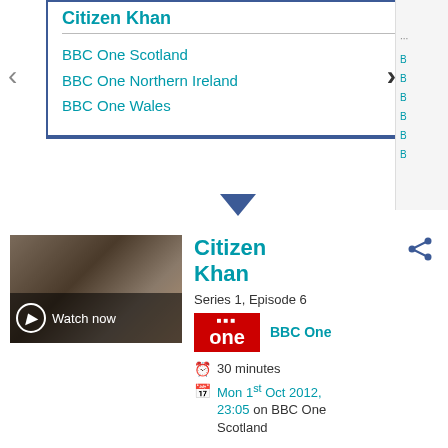Citizen Khan
BBC One Scotland
BBC One Northern Ireland
BBC One Wales
[Figure (screenshot): Thumbnail of Citizen Khan show with Watch now overlay]
Citizen Khan
Series 1, Episode 6
BBC One
30 minutes
Mon 1st Oct 2012, 23:05 on BBC One Scotland